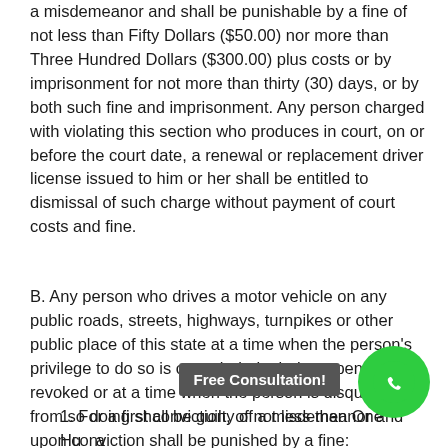a misdemeanor and shall be punishable by a fine of not less than Fifty Dollars ($50.00) nor more than Three Hundred Dollars ($300.00) plus costs or by imprisonment for not more than thirty (30) days, or by both such fine and imprisonment. Any person charged with violating this section who produces in court, on or before the court date, a renewal or replacement driver license issued to him or her shall be entitled to dismissal of such charge without payment of court costs and fine.
B. Any person who drives a motor vehicle on any public roads, streets, highways, turnpikes or other public place of this state at a time when the person's privilege to do so is canceled, denied, suspended or revoked or at a time when the person is disqualified from so doing shall be guilty of a misdemeanor and upon conviction shall be punished by a fine:
1. For a first conviction, of not less than One Hundred Dollars ($100.00) and not more than Five Hundred